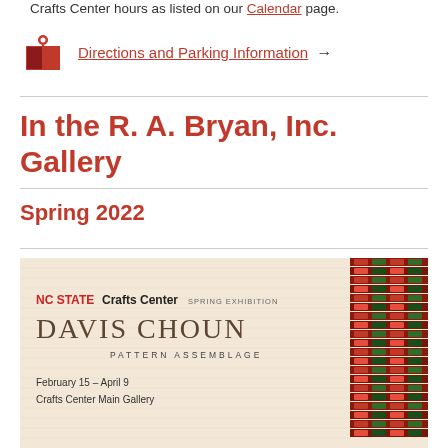Crafts Center hours as listed on our Calendar page.
Directions and Parking Information →
In the R. A. Bryan, Inc. Gallery
Spring 2022
[Figure (illustration): NC State Crafts Center Spring Exhibition poster for Davis Choun: Pattern Assemblage, February 15 – April 9, Crafts Center Main Gallery, with textile pattern image on right side]